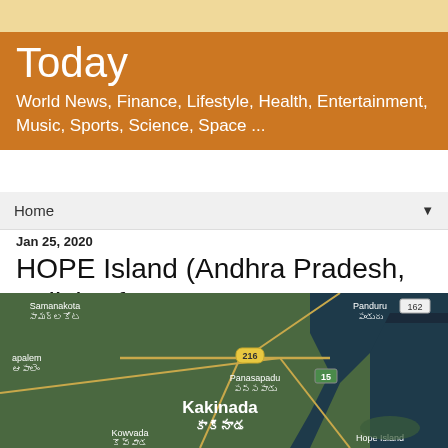Today
World News, Finance, Lifestyle, Health, Entertainment, Music, Sports, Science, Space ...
Home
Jan 25, 2020
HOPE Island (Andhra Pradesh, India) Info, Jan 25, 2020
[Figure (map): Google Maps satellite view showing Kakinada area in Andhra Pradesh, India, with labels including Samanakota, Panduru, road 162, road 216, apalem, Panasapadu, road 15, Kakinada (కాకినాడ), Kowvada, Hope Island, and coastline/sea visible on the right.]